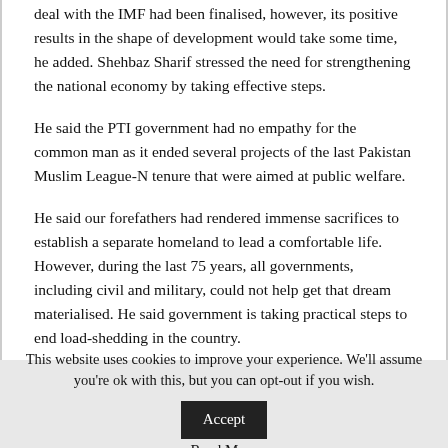deal with the IMF had been finalised, however, its positive results in the shape of development would take some time, he added. Shehbaz Sharif stressed the need for strengthening the national economy by taking effective steps.
He said the PTI government had no empathy for the common man as it ended several projects of the last Pakistan Muslim League-N tenure that were aimed at public welfare.
He said our forefathers had rendered immense sacrifices to establish a separate homeland to lead a comfortable life. However, during the last 75 years, all governments, including civil and military, could not help get that dream materialised. He said government is taking practical steps to end load-shedding in the country.
This website uses cookies to improve your experience. We'll assume you're ok with this, but you can opt-out if you wish. Accept Read More